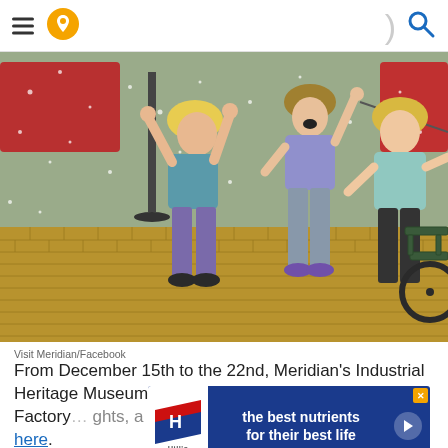Navigation header with menu, location pin icon, separator, and search icon
[Figure (photo): Three young girls playing joyfully outdoors in what appears to be a Christmas market or town square with brick pavement. One girl is jumping with arms raised, another is running with mouth open in excitement, and a third stands smiling. Christmas decorations and a bench are visible in the background.]
Visit Meridian/Facebook
From December 15th to the 22nd, Meridian's Industrial Heritage Museum transforms into Santa's Christmas Factory... [with] lights, a train rid[e] ...more information, click here.
[Figure (infographic): Advertisement banner for Hill's pet food: 'the best nutrients for their best life' with Hill's logo on left, white play button circle, and orange/blue X close button in corner.]